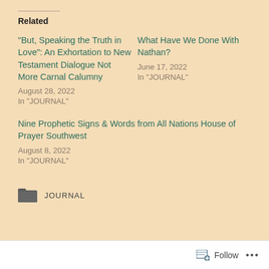Related
“But, Speaking the Truth in Love”: An Exhortation to New Testament Dialogue Not More Carnal Calumny
August 28, 2022
In “JOURNAL”
What Have We Done With Nathan?
June 17, 2022
In “JOURNAL”
Nine Prophetic Signs & Words from All Nations House of Prayer Southwest
August 8, 2022
In “JOURNAL”
JOURNAL
Follow